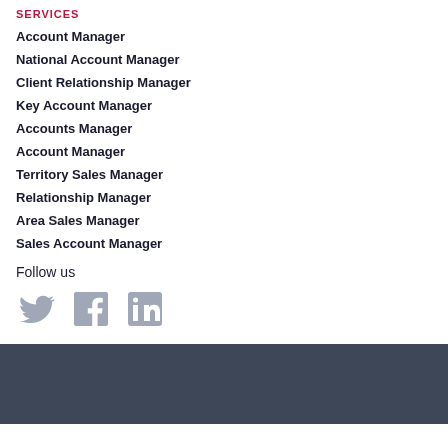SERVICES
Account Manager
National Account Manager
Client Relationship Manager
Key Account Manager
Accounts Manager
Account Manager
Territory Sales Manager
Relationship Manager
Area Sales Manager
Sales Account Manager
Follow us
[Figure (infographic): Social media icons: Twitter bird icon, Facebook F icon, LinkedIn in icon - all in light grey]